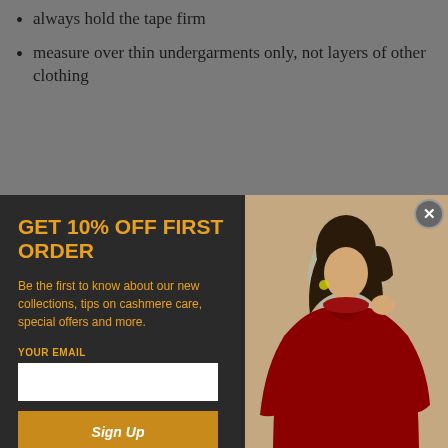always hold the tape firm
measure over thin undergarments only, not layers of other clothing
[Figure (photo): Modal popup with dark left panel showing 'GET 10% OFF FIRST ORDER' offer with email signup form, and right panel showing a woman in a red cashmere turtleneck sweater against a beige background]
|  |  |  |  |  |
| --- | --- | --- | --- | --- |
| 4/Italian 38 |  | 80 |  | 89 |
| S | 10 AUS/US 6/Italian40-42 | 81-86 | 65-69 | 90-94 |